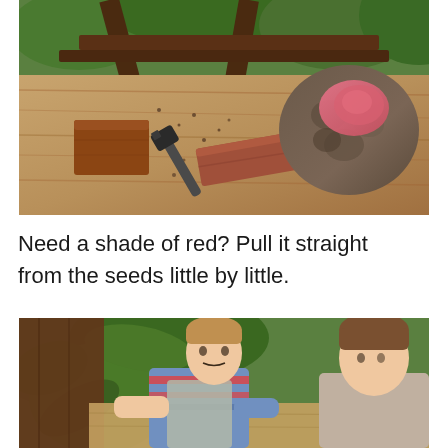[Figure (photo): Outdoor workshop table with wood pieces, a hammer/hatchet tool, a chunk of rock or seed pod with reddish-pink interior exposed, and scattered debris on a wooden surface. Green foliage visible in background.]
Need a shade of red? Pull it straight from the seeds little by little.
[Figure (photo): Two boys at an outdoor workshop table. The boy on the left wears a blue and red striped shirt and a gray apron, working with his hands on the table. A wooden bowl is visible. Green tropical foliage in the background.]